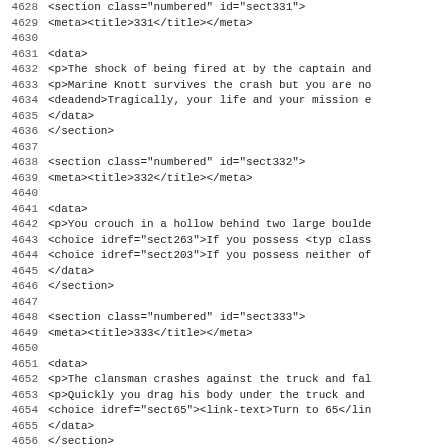Code listing lines 4628-4659 showing XML sections sect331 through sect334
4628   <section class="numbered" id="sect331">
4629    <meta><title>331</title></meta>
4630
4631    <data>
4632     <p>The shock of being fired at by the captain and
4633     <p>Marine Knott survives the crash but you are no
4634     <deadend>Tragically, your life and your mission e
4635    </data>
4636   </section>
4637
4638   <section class="numbered" id="sect332">
4639    <meta><title>332</title></meta>
4640
4641    <data>
4642     <p>You crouch in a hollow behind two large boulde
4643     <choice idref="sect263">If you possess <typ class
4644     <choice idref="sect203">If you possess neither of
4645    </data>
4646   </section>
4647
4648   <section class="numbered" id="sect333">
4649    <meta><title>333</title></meta>
4650
4651    <data>
4652     <p>The clansman crashes against the truck and fal
4653     <p>Quickly you drag his body under the truck and
4654     <choice idref="sect65"><link-text>Turn to 65</lin
4655    </data>
4656   </section>
4657
4658   <section class="numbered" id="sect334">
4659    <meta><title>334</title></meta>